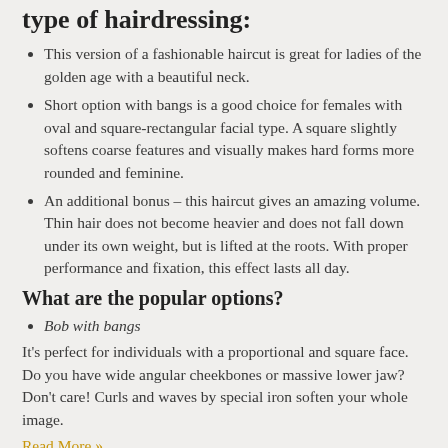type of hairdressing:
This version of a fashionable haircut is great for ladies of the golden age with a beautiful neck.
Short option with bangs is a good choice for females with oval and square-rectangular facial type. A square slightly softens coarse features and visually makes hard forms more rounded and feminine.
An additional bonus – this haircut gives an amazing volume. Thin hair does not become heavier and does not fall down under its own weight, but is lifted at the roots. With proper performance and fixation, this effect lasts all day.
What are the popular options?
Bob with bangs
It's perfect for individuals with a proportional and square face. Do you have wide angular cheekbones or massive lower jaw? Don't care! Curls and waves by special iron soften your whole image.
Read More »